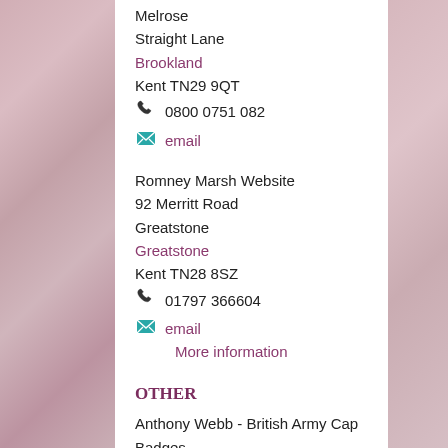Melrose
Straight Lane
Brookland
Kent TN29 9QT
☎ 0800 0751 082
✉ email
Romney Marsh Website
92 Merritt Road
Greatstone
Greatstone
Kent TN28 8SZ
☎ 01797 366604
✉ email
More information
Other
Anthony Webb - British Army Cap Badges
Grenville House
84 Merritt Road
Greatstone
Kent TN28 8SZ